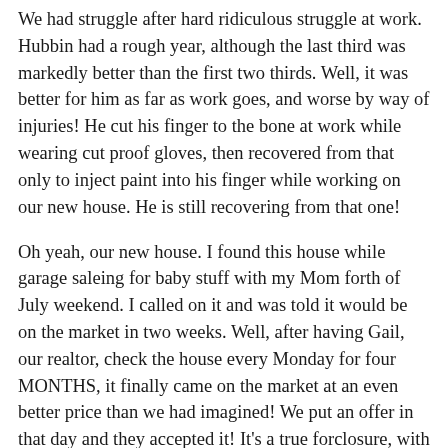We had struggle after hard ridiculous struggle at work. Hubbin had a rough year, although the last third was markedly better than the first two thirds. Well, it was better for him as far as work goes, and worse by way of injuries! He cut his finger to the bone at work while wearing cut proof gloves, then recovered from that only to inject paint into his finger while working on our new house. He is still recovering from that one!
Oh yeah, our new house. I found this house while garage saleing for baby stuff with my Mom forth of July weekend. I called on it and was told it would be on the market in two weeks. Well, after having Gail, our realtor, check the house every Monday for four MONTHS, it finally came on the market at an even better price than we had imagined! We put an offer in that day and they accepted it! It's a true forclosure, with 19 water leaks Hubbin fixed when we turned the water on, and nothing updated since it was built in 1973. We are doing a complete upstairs remodel before moving in. Progress was happening until Hubbin hurt his finger, and now it has been